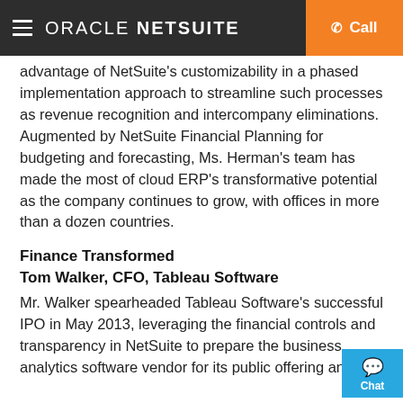ORACLE NETSUITE | Call
advantage of NetSuite's customizability in a phased implementation approach to streamline such processes as revenue recognition and intercompany eliminations. Augmented by NetSuite Financial Planning for budgeting and forecasting, Ms. Herman's team has made the most of cloud ERP's transformative potential as the company continues to grow, with offices in more than a dozen countries.
Finance Transformed
Tom Walker, CFO, Tableau Software
Mr. Walker spearheaded Tableau Software's successful IPO in May 2013, leveraging the financial controls and transparency in NetSuite to prepare the business analytics software vendor for its public offering and